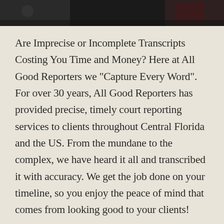[Figure (photo): Dark photo strip at the top of the page, appears to show people in a court reporting or legal setting]
Are Imprecise or Incomplete Transcripts Costing You Time and Money? Here at All Good Reporters we "Capture Every Word". For over 30 years, All Good Reporters has provided precise, timely court reporting services to clients throughout Central Florida and the US. From the mundane to the complex, we have heard it all and transcribed it with accuracy. We get the job done on your timeline, so you enjoy the peace of mind that comes from looking good to your clients!
"With accurate transcriptions, promptly delivered in a variety of